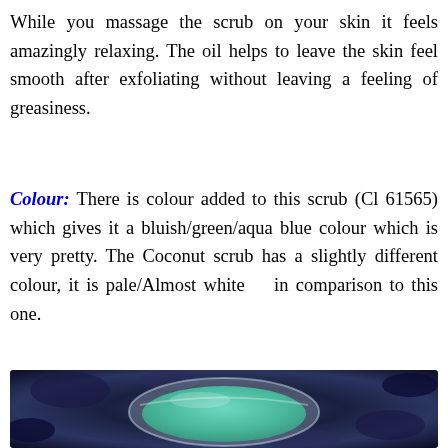While you massage the scrub on your skin it feels amazingly relaxing. The oil helps to leave the skin feel smooth after exfoliating without leaving a feeling of greasiness.
Colour: There is colour added to this scrub (Cl 61565) which gives it a bluish/green/aqua blue colour which is very pretty. The Coconut scrub has a slightly different colour, it is pale/Almost white in comparison to this one.
[Figure (photo): A photo of a small clear jar/bowl containing a bluish-green/aqua coloured scrub, placed on a blue and white patterned fabric background.]